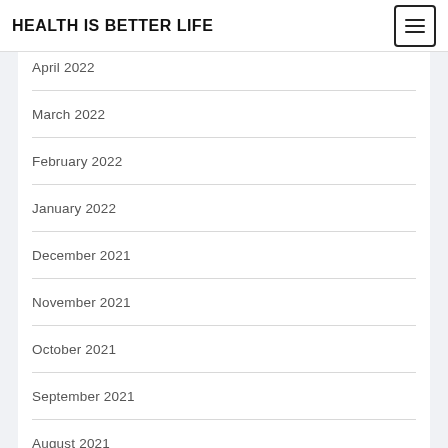HEALTH IS BETTER LIFE
April 2022
March 2022
February 2022
January 2022
December 2021
November 2021
October 2021
September 2021
August 2021
July 2021
June 2021